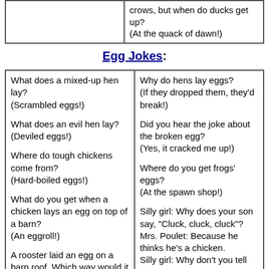|  | crows, but when do ducks get up?
(At the quack of dawn!) |
Egg Jokes:
| What does a mixed-up hen lay? (Scrambled eggs!)

What does an evil hen lay? (Deviled eggs!)

Where do tough chickens come from? (Hard-boiled eggs!)

What do you get when a chicken lays an egg on top of a barn? (An eggroll!)

A rooster laid an egg on a barn roof. Which way would it roll? (Roosters don't lay eggs, hens do!) | Why do hens lay eggs? (If they dropped them, they'd break!)

Did you hear the joke about the broken egg? (Yes, it cracked me up!)

Where do you get frogs' eggs? (At the spawn shop!)

Silly girl: Why does your son say, "Cluck, cluck, cluck"? Mrs. Poulet: Because he thinks he's a chicken. Silly girl: Why don't you tell him he's not a chicken? Mrs. Poulet: Because we need the eggs. |